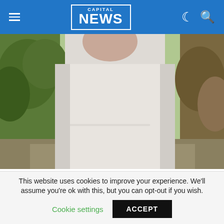CAPITAL NEWS
[Figure (photo): The late Kevin Oduor in a past photo. Person wearing white clothing photographed outdoors with green foliage in background.]
The late Kevin Oduor in a past photo/FIL
NAIROBI, Kenya, May 11 – The family of Kevin Oduor who was allegedly shot dead by the owner of Club Click on Baricho Road in Nairobi has spoken out and believes he was killed over a woman.
This website uses cookies to improve your experience. We'll assume you're ok with this, but you can opt-out if you wish. Cookie settings ACCEPT